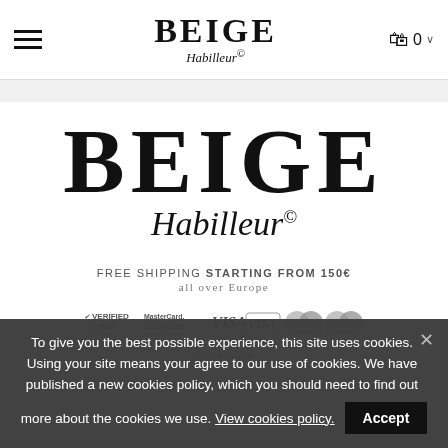BEIGE Habilleur® — navigation header with hamburger menu, logo, and cart icon showing 0
[Figure (logo): BEIGE Habilleur® large center logo]
FREE SHIPPING STARTING FROM 150€
all over Europe
[Figure (other): Payment logos: Verified by VISA, MasterCard SecureCode, VISA, VISA electron, Mastercard, Maestro]
ABOUT
To give you the best possible experience, this site uses cookies. Using your site means your agree to our use of cookies. We have published a new cookies policy, which you should need to find out more about the cookies we use. View cookies policy.